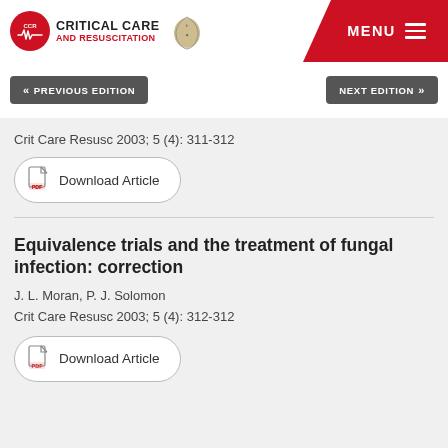Critical Care and Resuscitation
« PREVIOUS EDITION
NEXT EDITION »
Crit Care Resusc 2003; 5 (4): 311-312
Download Article
Equivalence trials and the treatment of fungal infection: correction
J. L. Moran, P. J. Solomon
Crit Care Resusc 2003; 5 (4): 312-312
Download Article